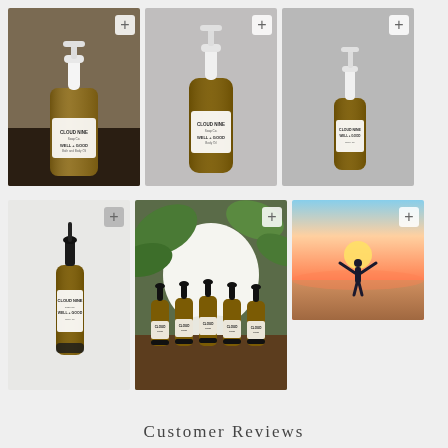[Figure (photo): Cloud Nine Soap Co. Well + Good bath and body oil in amber bottle with white pump, on dark surface]
[Figure (photo): Cloud Nine Soap Co. Well + Good body oil in amber bottle with white pump dispenser, grey background]
[Figure (photo): Cloud Nine Soap Co. Well + Good smaller amber bottle with pump, grey background]
[Figure (photo): Cloud Nine Soap Co. Well + Good amber dropper bottle, single product shot on light background]
[Figure (photo): Five Cloud Nine Soap Co. amber dropper bottles arranged in front of large white vase with green plant]
[Figure (photo): Silhouette of person with arms raised wide at sunset over water]
Customer Reviews